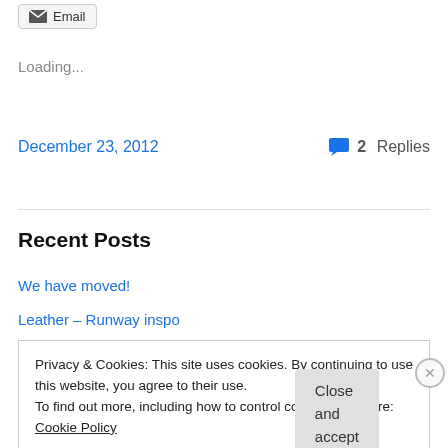[Figure (other): Email share button with envelope icon]
Loading...
December 23, 2012   💬 2 Replies
Recent Posts
We have moved!
Leather – Runway inspo
Privacy & Cookies: This site uses cookies. By continuing to use this website, you agree to their use.
To find out more, including how to control cookies, see here: Cookie Policy
Close and accept